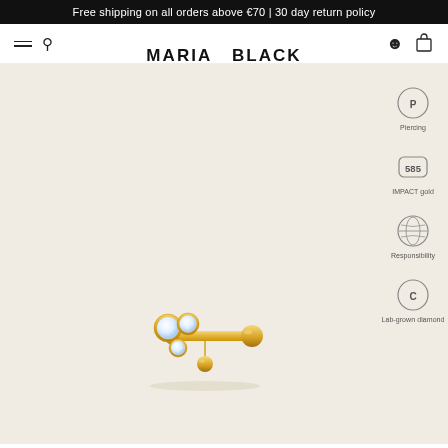Free shipping on all orders above €70 | 30 day return policy
[Figure (logo): Maria Black brand navigation bar with hamburger menu, search icon, MARIA BLACK logo, smiley face icon, and shopping bag icon]
[Figure (photo): Gold piercing jewelry piece with three white lab-grown diamonds in bezel settings and a small gold ball drop, shown on a warm beige background]
[Figure (infographic): Four circular product attribute icons on the right sidebar: Piercing (P in circle), IMPACT gold (585 in rounded square), Responsibility (globe icon), Lab-grown diamond (C in circle), each with a label below]